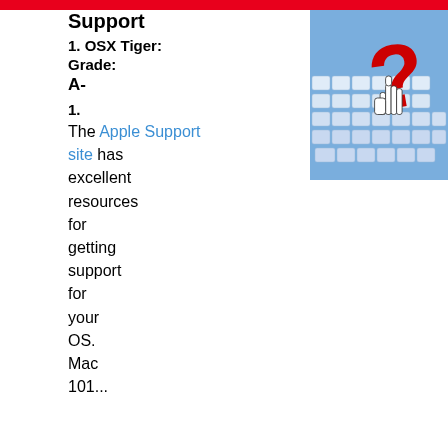Technical Support
1. OSX Tiger: Grade: A-
1. The Apple Support site has excellent resources for getting support for your OS. Mac 101...
[Figure (photo): Photo of a keyboard with a red question mark and white hand cursor icon overlaid on top]